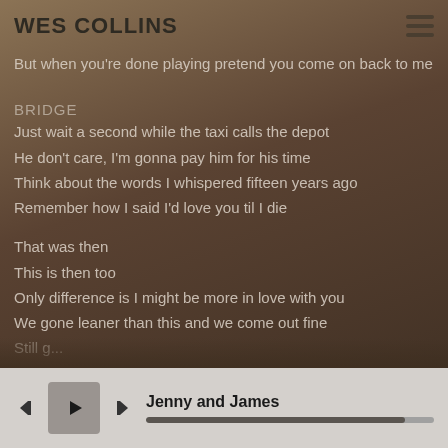WES COLLINS
But when you're done playing pretend you come on back to me
BRIDGE
Just wait a second while the taxi calls the depot
He don't care, I'm gonna pay him for his time
Think about the words I whispered fifteen years ago
Remember how I said I'd love you til I die
That was then
This is then too
Only difference is I might be more in love with you
We gone leaner than this and we come out fine
Jenny and James